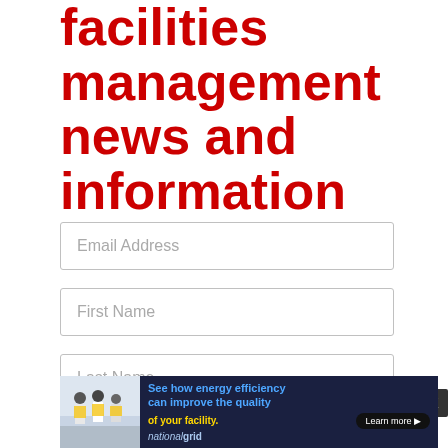facilities management news and information
Email Address
First Name
Last Name
By submitting your information, you agree
[Figure (infographic): National Grid advertisement banner: photo of workers in high-vis vests on the left, text 'See how energy efficiency can improve the quality of your facility.' with National Grid logo and 'Learn more' button on dark blue background.]